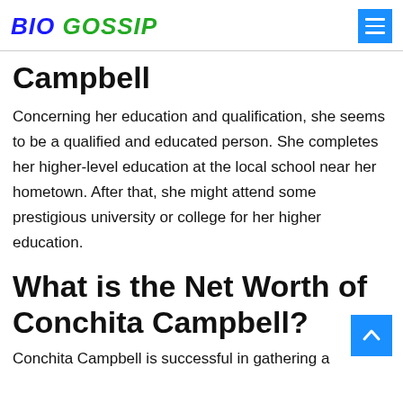BIO GOSSIP
Campbell
Concerning her education and qualification, she seems to be a qualified and educated person. She completes her higher-level education at the local school near her hometown. After that, she might attend some prestigious university or college for her higher education.
What is the Net Worth of Conchita Campbell?
Conchita Campbell is successful in gathering a